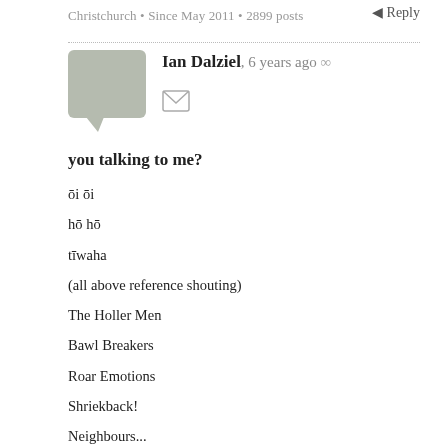Christchurch • Since May 2011 • 2899 posts
Reply
Ian Dalziel, 6 years ago ∞
you talking to me?
ōi ōi
hō hō
tīwaha
(all above reference shouting)
The Holler Men
Bawl Breakers
Roar Emotions
Shriekback!
Neighbours...